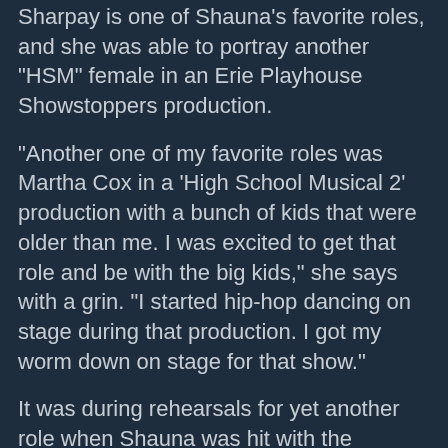Sharpay is one of Shauna's favorite roles, and she was able to portray another "HSM" female in an Erie Playhouse Showstoppers production.
"Another one of my favorite roles was Martha Cox in a 'High School Musical 2' production with a bunch of kids that were older than me. I was excited to get that role and be with the big kids," she says with a grin. "I started hip-hop dancing on stage during that production. I got my worm down on stage for that show."
It was during rehearsals for yet another role when Shauna was hit with the realization that performing was definitely it for her.
"We were doing 'Godspell Jr.' at a summer camp, and I had a big solo. During rehearsal, it became so quiet when I sang. I actually made one of the counselors cry when I was singing. I was like, 'Wow, OK, I guess I can do singing and acting.' That's when I started to love it, getting the crowd's reaction. It was then that I knew. When I got to California and took my first acting class, I knew that I loved doing it, being different characters."